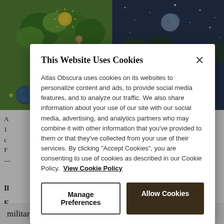[Figure (illustration): Two historical/mythological illustration panels side by side: left panel shows a figure with sun and animals labeled 'Phoenix' in a colorful landscape, right panel shows a nude figure with moon reaching out labeled 'Aquila' in a blue-toned starscape]
A
1
c
F
—

Il

F
—

1.
d
c
s
f
This Website Uses Cookies

Atlas Obscura uses cookies on its websites to personalize content and ads, to provide social media features, and to analyze our traffic. We also share information about your use of our site with our social media, advertising, and analytics partners who may combine it with other information that you've provided to them or that they've collected from your use of their services. By clicking "Accept Cookies", you are consenting to use of cookies as described in our Cookie Policy. View Cookie Policy
military secrets and to frustrate us with our lack of